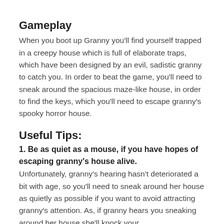Gameplay
When you boot up Granny you'll find yourself trapped in a creepy house which is full of elaborate traps, which have been designed by an evil, sadistic granny to catch you. In order to beat the game, you'll need to sneak around the spacious maze-like house, in order to find the keys, which you'll need to escape granny's spooky horror house.
Useful Tips:
1. Be as quiet as a mouse, if you have hopes of escaping granny's house alive.
Unfortunately, granny's hearing hasn't deteriorated a bit with age, so you'll need to sneak around her house as quietly as possible if you want to avoid attracting granny's attention. As, if granny hears you sneaking around her house she'll knock your